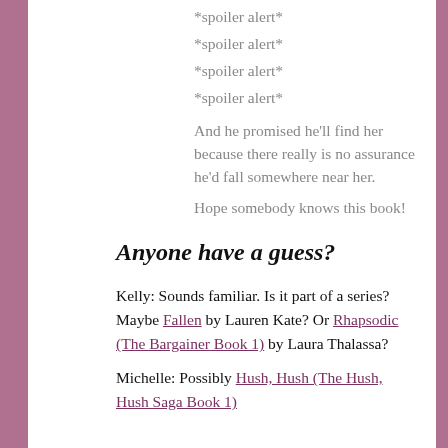*spoiler alert*
*spoiler alert*
*spoiler alert*
*spoiler alert*
And he promised he'll find her because there really is no assurance he'd fall somewhere near her.
Hope somebody knows this book!
Anyone have a guess?
Kelly: Sounds familiar. Is it part of a series? Maybe Fallen by Lauren Kate? Or Rhapsodic (The Bargainer Book 1) by Laura Thalassa?
Michelle: Possibly Hush, Hush (The Hush, Hush Saga Book 1)?